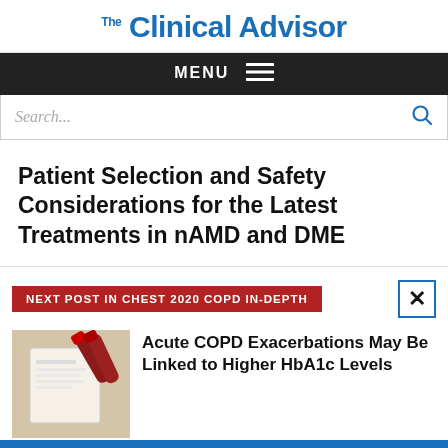Clinical Advisor
MENU
Search...
Patient Selection and Safety Considerations for the Latest Treatments in nAMD and DME
NEXT POST IN CHEST 2020 COPD IN-DEPTH
[Figure (photo): Blood test tubes and medical paperwork on a surface]
Acute COPD Exacerbations May Be Linked to Higher HbA1c Levels